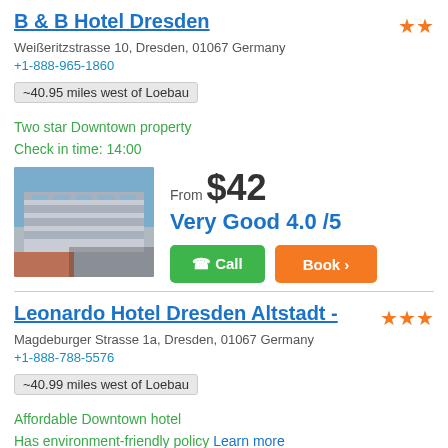B & B Hotel Dresden
Weißeritzstrasse 10, Dresden, 01067 Germany
+1-888-965-1860
~40.95 miles west of Loebau
Two star Downtown property
Check in time: 14:00
[Figure (photo): Hotel building exterior photo at dusk]
From $42
Very Good 4.0 /5
Call | Book
Leonardo Hotel Dresden Altstadt -
Magdeburger Strasse 1a, Dresden, 01067 Germany
+1-888-788-5576
~40.99 miles west of Loebau
Affordable Downtown hotel
Has environment-friendly policy Learn more
[Figure (photo): Hotel exterior photo with green trees]
From $43